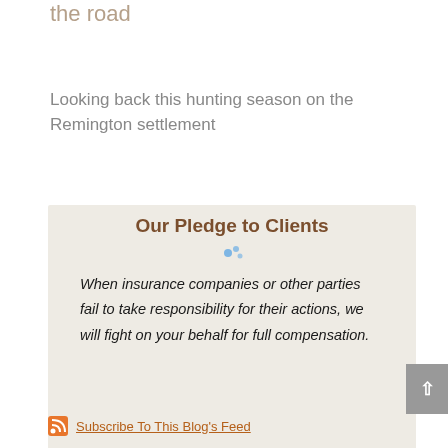the road
Looking back this hunting season on the Remington settlement
Our Pledge to Clients
When insurance companies or other parties fail to take responsibility for their actions, we will fight on your behalf for full compensation.
Subscribe To This Blog's Feed